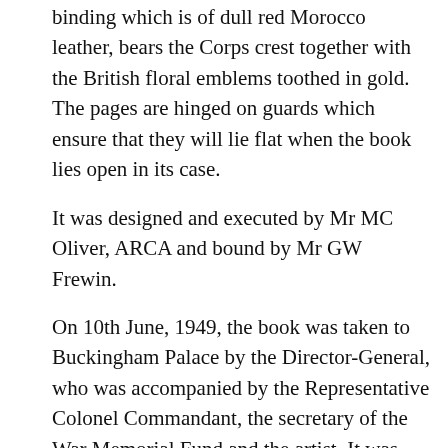binding which is of dull red Morocco leather, bears the Corps crest together with the British floral emblems toothed in gold. The pages are hinged on guards which ensure that they will lie flat when the book lies open in its case.
It was designed and executed by Mr MC Oliver, ARCA and bound by Mr GW Frewin.
On 10th June, 1949, the book was taken to Buckingham Palace by the Director-General, who was accompanied by the Representative Colonel Commandant, the secretary of the War Memorial Fund and the artist. It was very closely inspected by Her Majesty Queen Elizabeth, the Colonel-in-Chief, RAMC, who graciously expressed her approval